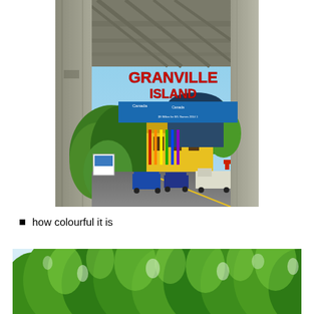[Figure (photo): Photo of the entrance to Granville Island in Vancouver, taken from under a bridge overpass. A prominent sign reads 'GRANVILLE ISLAND' in red letters. Below it is a blue banner from Canada with text. Colorful buildings, green trees, vehicles, and a road are visible.]
how colourful it is
[Figure (photo): Photo of bright green leafy trees with sunlight filtering through the canopy against a light sky background.]